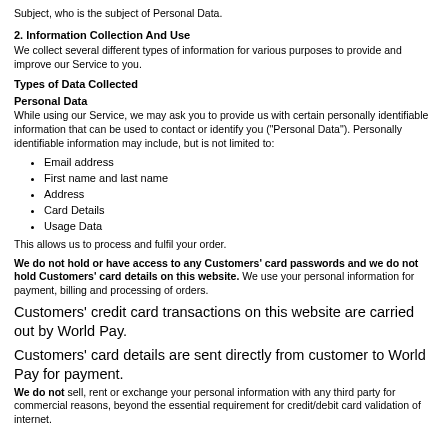Subject, who is the subject of Personal Data.
2. Information Collection And Use
We collect several different types of information for various purposes to provide and improve our Service to you.
Types of Data Collected
Personal Data
While using our Service, we may ask you to provide us with certain personally identifiable information that can be used to contact or identify you ("Personal Data"). Personally identifiable information may include, but is not limited to:
Email address
First name and last name
Address
Card Details
Usage Data
This allows us to process and fulfil your order.
We do not hold or have access to any Customers' card passwords and we do not hold Customers' card details on this website. We use your personal information for payment, billing and processing of orders.
Customers' credit card transactions on this website are carried out by World Pay.
Customers' card details are sent directly from customer to World Pay for payment.
We do not sell, rent or exchange your personal information with any third party for commercial reasons, beyond the essential requirement for credit/debit card validation of internet.